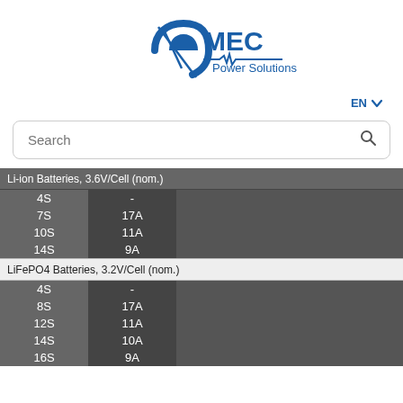[Figure (logo): MEC Power Solutions logo with blue swoosh/arrow graphic and text 'MEC Power Solutions']
EN ∨
Search
Li-ion Batteries, 3.6V/Cell (nom.)
|  |  |
| --- | --- |
| 4S | - |
| 7S | 17A |
| 10S | 11A |
| 14S | 9A |
LiFePO4 Batteries, 3.2V/Cell (nom.)
|  |  |
| --- | --- |
| 4S | - |
| 8S | 17A |
| 12S | 11A |
| 14S | 10A |
| 16S | 9A |